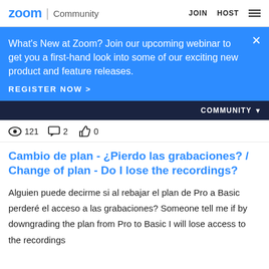zoom | Community  JOIN  HOST
What's New at Zoom? Join our upcoming webinar to get you a first-hand look into some of our exciting new product and feature releases.
REGISTER NOW >
COMMUNITY ▼
👁 121  💬 2  👍 0
Cambio de plan - ¿Pierdo las grabaciones? / Change of plan - Do I lose the recordings?
Alguien puede decirme si al rebajar el plan de Pro a Basic perderé el acceso a las grabaciones? Someone tell me if by downgrading the plan from Pro to Basic I will lose access to the recordings